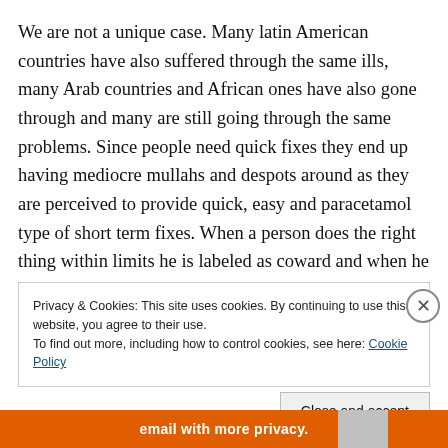We are not a unique case. Many latin American countries have also suffered through the same ills, many Arab countries and African ones have also gone through and many are still going through the same problems. Since people need quick fixes they end up having mediocre mullahs and despots around as they are perceived to provide quick, easy and paracetamol type of short term fixes. When a person does the right thing within limits he is labeled as coward and when he crosses his own boundaries because of the power he has, he becomes
Privacy & Cookies: This site uses cookies. By continuing to use this website, you agree to their use.
To find out more, including how to control cookies, see here: Cookie Policy
Close and accept
email with more privacy.